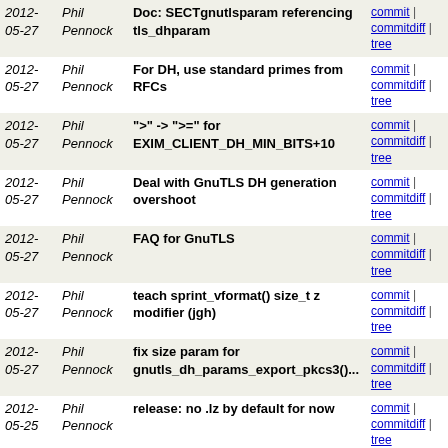| Date | Author | Message | Links |
| --- | --- | --- | --- |
| 2012-05-27 | Phil Pennock | Doc: SECTgnutlsparam referencing tls_dhparam | commit | commitdiff | tree |
| 2012-05-27 | Phil Pennock | For DH, use standard primes from RFCs | commit | commitdiff | tree |
| 2012-05-27 | Phil Pennock | ">" -> ">=" for EXIM_CLIENT_DH_MIN_BITS+10 | commit | commitdiff | tree |
| 2012-05-27 | Phil Pennock | Deal with GnuTLS DH generation overshoot | commit | commitdiff | tree |
| 2012-05-27 | Phil Pennock | FAQ for GnuTLS | commit | commitdiff | tree |
| 2012-05-27 | Phil Pennock | teach sprint_vformat() size_t z modifier (jgh) | commit | commitdiff | tree |
| 2012-05-27 | Phil Pennock | fix size param for gnutls_dh_params_export_pkcs3()... | commit | commitdiff | tree |
| 2012-05-25 | Phil Pennock | release: no .lz by default for now | commit | commitdiff | tree |
| 2012-05-25 | Phil Pennock | Doc: Provide context for bare numbers from CHAP/SECT. | commit | commitdiff | tree |
| 2012-05-25 | Phil Pennock | Cyrus SASL auth: SSF retrieval was incorrect. | commit | commitdiff | tree |
| 2012-05-25 | Phil Pennock | It's 2012, not 1012. Noted by Jay Rouman | commit | commitdiff | tree |
| 2012-05-24 | Phil Pennock | ReleaseTools: support .lz lzip archives | commit | commitdiff | tree |
| 2012-05-24 | Phil Pennock | _ISOC99_SOURCE -> _GNU_SOURCE | commit | commitdiff | tree |
| 2012- | Phil | Define _ISOC99_SOURCE in exim.h | commit |